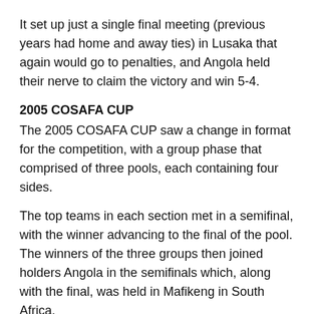It set up just a single final meeting (previous years had home and away ties) in Lusaka that again would go to penalties, and Angola held their nerve to claim the victory and win 5-4.
2005 COSAFA CUP
The 2005 COSAFA CUP saw a change in format for the competition, with a group phase that comprised of three pools, each containing four sides.
The top teams in each section met in a semifinal, with the winner advancing to the final of the pool. The winners of the three groups then joined holders Angola in the semifinals which, along with the final, was held in Mafikeng in South Africa.
Zimbabwe defeated Angola in their semifinal 2-1. Love put Angola in the lead, but the Warriors struck back with goals from Francis Chandida and Sageby Sandaka to advance.
South Africa and Zambia played to a thrilling 2-2 draw